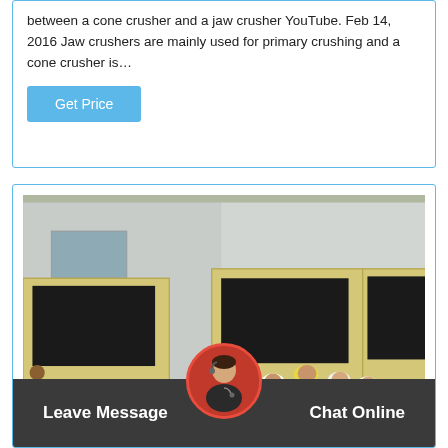between a cone crusher and a jaw crusher YouTube. Feb 14, 2016 Jaw crushers are mainly used for primary crushing and a cone crusher is…
Get Price
[Figure (photo): Group of workers in white hard hats and black jackets standing in front of large yellow industrial crushers/jaw crusher machines in a factory yard]
Leave Message
Chat Online